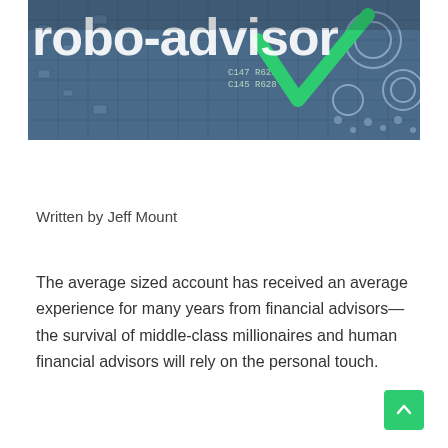[Figure (photo): Banner image showing a circuit board background with the text 'robo-advisor' in large white bold letters and a green checkmark overlay, suggesting fintech/automated financial advisory.]
Written by Jeff Mount
The average sized account has received an average experience for many years from financial advisors—the survival of middle-class millionaires and human financial advisors will rely on the personal touch.